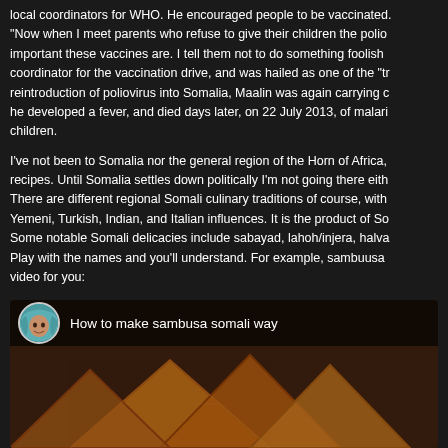local coordinators for WHO. He encouraged people to be vaccinated. "Now when I meet parents who refuse to give their children the polio important these vaccines are. I tell them not to do something foolish coordinator for the vaccination drive, and was hailed as one of the "tr reintroduction of poliovirus into Somalia, Maalin was again carrying c he developed a fever, and died days later, on 22 July 2013, of malari children.
I've not been to Somalia nor the general region of the Horn of Africa, recipes. Until Somalia settles down politically I'm not going there eith There are different regional Somali culinary traditions of course, with Yemeni, Turkish, Indian, and Italian influences. It is the product of So Some notable Somali delicacies include sabayad, lahoh/injera, halva Play with the names and you'll understand. For example, sambuusa video for you:
[Figure (screenshot): Video thumbnail for 'How to make sambusa somali way' showing a person's avatar with hijab and fried samosas/sambusas in the background]